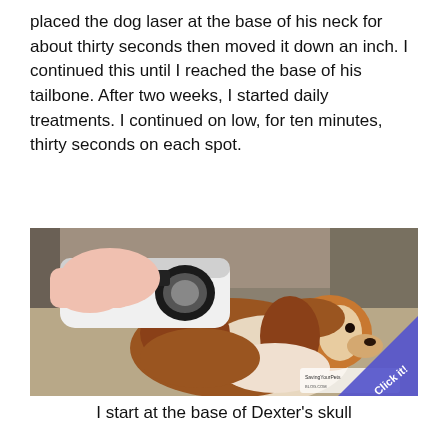placed the dog laser at the base of his neck for about thirty seconds then moved it down an inch. I continued this until I reached the base of his tailbone. After two weeks, I started daily treatments. I continued on low, for ten minutes, thirty seconds on each spot.
[Figure (photo): A Cavalier King Charles Spaniel dog lying on a couch while a person holds a handheld laser therapy device against the dog's neck/head area. The device is white with a black circular control panel.]
I start at the base of Dexter's skull